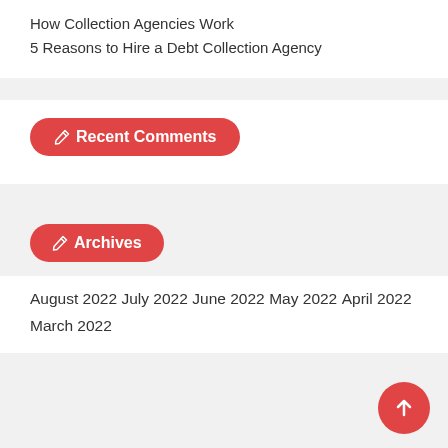How Collection Agencies Work
5 Reasons to Hire a Debt Collection Agency
Recent Comments
Archives
August 2022
July 2022
June 2022
May 2022
April 2022
March 2022